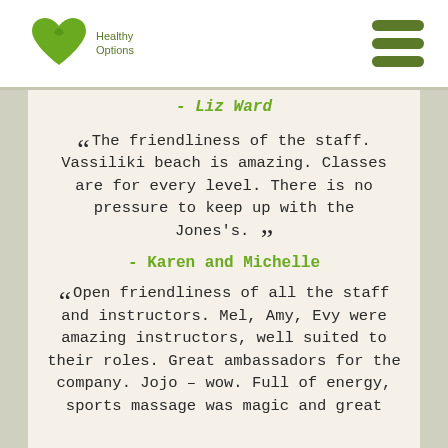Healthy Options logo and navigation menu
- Liz Ward
“The friendliness of the staff. Vassiliki beach is amazing. Classes are for every level. There is no pressure to keep up with the Jones’s.”
- Karen and Michelle
“Open friendliness of all the staff and instructors. Mel, Amy, Evy were amazing instructors, well suited to their roles. Great ambassadors for the company. Jojo – wow. Full of energy, sports massage was magic and great